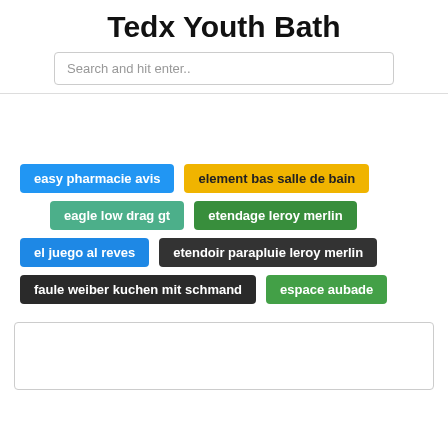Tedx Youth Bath
Search and hit enter..
easy pharmacie avis
element bas salle de bain
eagle low drag gt
etendage leroy merlin
el juego al reves
etendoir parapluie leroy merlin
faule weiber kuchen mit schmand
espace aubade